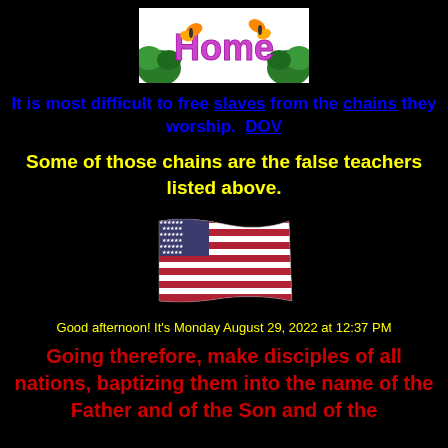[Figure (illustration): Home banner with butterflies, flowers and pink stylized text reading 'Home' on white background]
It is most difficult to free slaves from the chains they worship.  DOV
Some of those chains are the false teachers listed above.
[Figure (illustration): Animated American flag waving]
Good afternoon! It's Monday August 29, 2022 at 12:37 PM
Going therefore, make disciples of all nations, baptizing them into the name of the Father and of the Son and of the